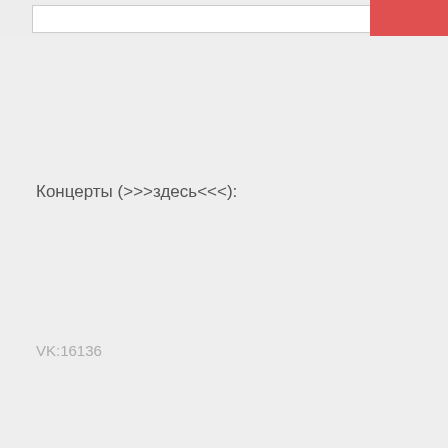Концерты (>>>здесь<<<):
VK:16136
[Figure (screenshot): Hamburger menu icon (three horizontal lines) in white navigation bar]
[Figure (screenshot): Scroll to top button with upward chevron arrow]
© 2015 Рогатые Трупоеды
[Figure (screenshot): Social media icons: Facebook, YouTube, VK]